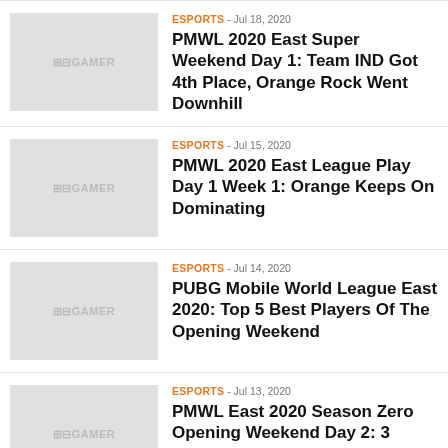ESPORTS - Jul 18, 2020 | PMWL 2020 East Super Weekend Day 1: Team IND Got 4th Place, Orange Rock Went Downhill
ESPORTS - Jul 15, 2020 | PMWL 2020 East League Play Day 1 Week 1: Orange Keeps On Dominating
ESPORTS - Jul 14, 2020 | PUBG Mobile World League East 2020: Top 5 Best Players Of The Opening Weekend
ESPORTS - Jul 13, 2020 | PMWL East 2020 Season Zero Opening Weekend Day 2: 3 Indian